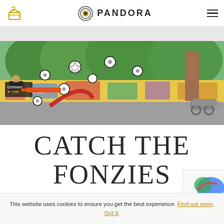Pandora — box icon, Pandora logo, hamburger menu
[Figure (screenshot): Game screenshot showing soccer balls being launched from a cannon in a park with graffiti wall background, and a player character on the left]
CATCH THE FONZIES
This website uses cookies to ensure you get the best experience. Find out more. Got it.